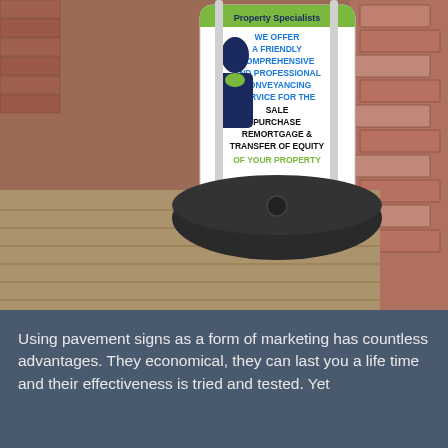[Figure (photo): A pavement A-board sign on brick pavement. The sign displays text about property conveyancing services: 'Property Specialists - WE OFFER A FRIENDLY COMPREHENSIVE AND PROFESSIONAL CONVEYANCING SERVICE FOR THE SALE PURCHASE REMORTGAGE & TRANSFER OF EQUITY OF YOUR PROPERTY'. The sign has a silhouette of a woman and a dark weighted base.]
Using pavement signs as a form of marketing has countless advantages. They economical, they can last you a life time and their effectiveness is tried and tested. Yet